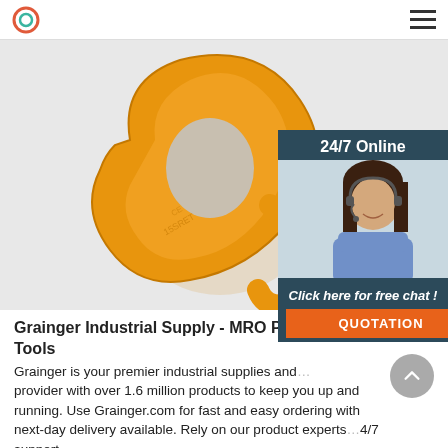[Figure (photo): Yellow/gold colored industrial eye hook/lifting ring made of alloy steel, viewed from the front showing the circular eye and hook shape with stamped markings]
[Figure (photo): 24/7 Online chat panel with a smiling female customer service representative wearing a headset, dark background with 'Click here for free chat!' text and orange QUOTATION button]
Grainger Industrial Supply - MRO Products, Equ… Tools
Grainger is your premier industrial supplies and… provider with over 1.6 million products to keep you up and running. Use Grainger.com for fast and easy ordering with next-day delivery available. Rely on our product experts… 4/7 support.
[Figure (other): Get Price green button]